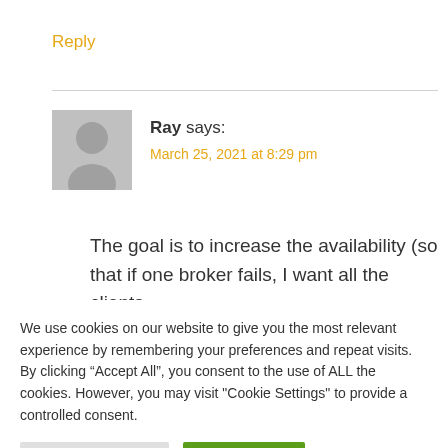Reply
Ray says:
March 25, 2021 at 8:29 pm
The goal is to increase the availability (so that if one broker fails, I want all the clients
We use cookies on our website to give you the most relevant experience by remembering your preferences and repeat visits. By clicking “Accept All”, you consent to the use of ALL the cookies. However, you may visit "Cookie Settings" to provide a controlled consent.